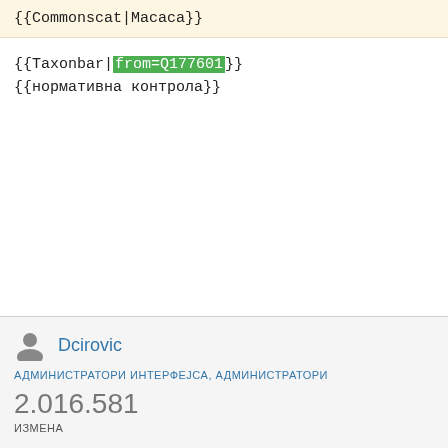{{Commonscat|Macaca}}
{{Taxonbar|from=Q177601}}
{{нормативна контрола}}
Dcirovic
АДМИНИСТРАТОРИ ИНТЕРФЕЈСА, АДМИНИСТРАТОРИ
2.016.581
ИЗМЕНА